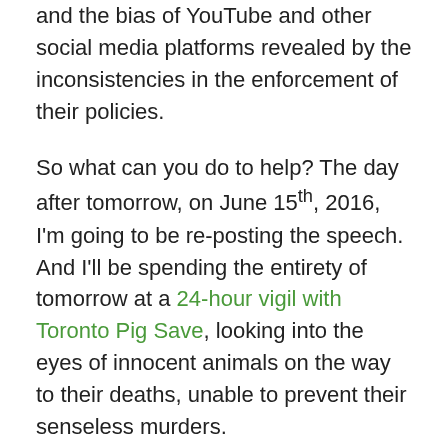and the bias of YouTube and other social media platforms revealed by the inconsistencies in the enforcement of their policies.
So what can you do to help? The day after tomorrow, on June 15th, 2016, I'm going to be re-posting the speech. And I'll be spending the entirety of tomorrow at a 24-hour vigil with Toronto Pig Save, looking into the eyes of innocent animals on the way to their deaths, unable to prevent their senseless murders.
The new speech post will have the graphic footage removed with a link to the original video and explanation. What I need from you is to please watch the new posting and share it far and wide. I realize many of you may have already seen the speech. So you can even just let it run in the